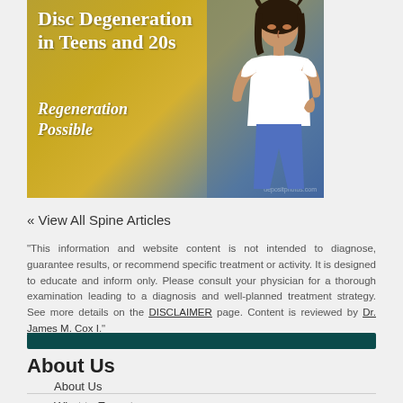[Figure (photo): Banner image showing a young woman with back pain, with text overlay reading 'Disc Degeneration in Teens and 20s - Regeneration Possible' on a gold/blue background. Watermark: depositphotos.com]
« View All Spine Articles
"This information and website content is not intended to diagnose, guarantee results, or recommend specific treatment or activity. It is designed to educate and inform only. Please consult your physician for a thorough examination leading to a diagnosis and well-planned treatment strategy. See more details on the DISCLAIMER page. Content is reviewed by Dr. James M. Cox I."
About Us
About Us
What to Expect